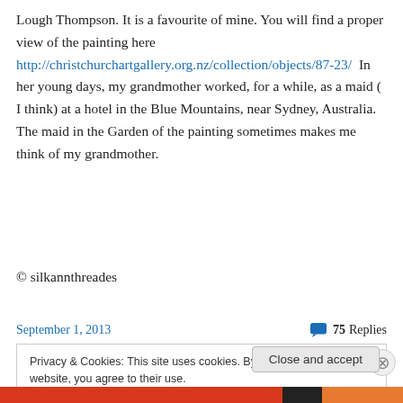Lough Thompson. It is a favourite of mine. You will find a proper view of the painting here http://christchurchartgallery.org.nz/collection/objects/87-23/  In her young days, my grandmother worked, for a while, as a maid ( I think) at a hotel in the Blue Mountains, near Sydney, Australia. The maid in the Garden of the painting sometimes makes me think of my grandmother.
© silkannthreades
September 1, 2013    75 Replies
Privacy & Cookies: This site uses cookies. By continuing to use this website, you agree to their use. To find out more, including how to control cookies, see here: Cookie Policy